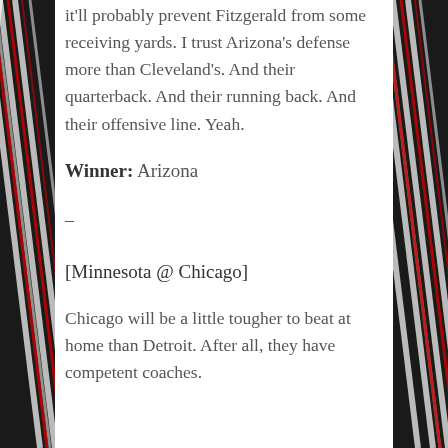it'll probably prevent Fitzgerald from some receiving yards. I trust Arizona's defense more than Cleveland's. And their quarterback. And their running back. And their offensive line. Yeah.
Winner: Arizona
–
[Minnesota @ Chicago]
Chicago will be a little tougher to beat at home than Detroit. After all, they have competent coaches.